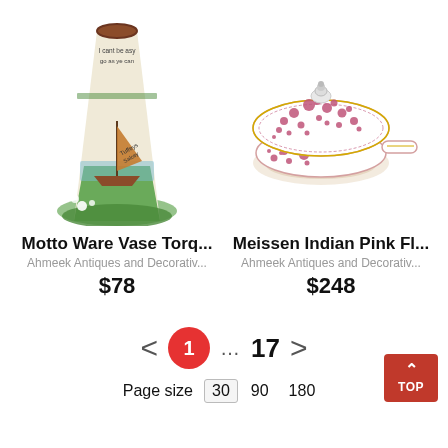[Figure (photo): Motto Ware Vase Torquay style ceramic vase with sailboat illustration and green base, conical shape with motto text near top]
[Figure (photo): Meissen Indian Pink Flower porcelain lidded dish/saucepan with pink floral pattern, white handle and knob finial on lid]
Motto Ware Vase Torq...
Ahmeek Antiques and Decorativ...
$78
Meissen Indian Pink Fl...
Ahmeek Antiques and Decorativ...
$248
< 1 ... 17 >
Page size 30 90 180